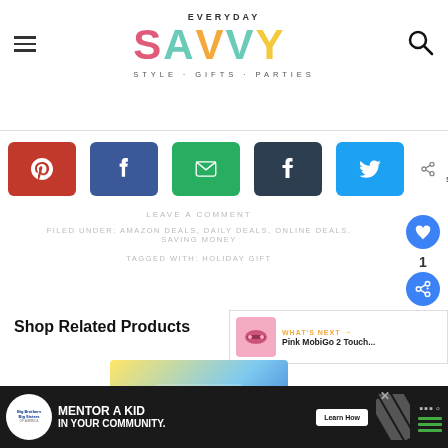EVERYDAY SAVVY — STYLE · GIFTS · PARTIES
[Figure (infographic): Social share buttons row: Pinterest (red), Facebook (dark blue), Email (green), Tumblr (dark), Twitter (light blue), plus share count showing 0 SHARES]
LEAVE A COMMENT
FILED UNDER: AMAZON DEALS, DAILY DEALS, ONLINE DEALS, SAVING MONEY
TAGGED WITH: HOLIDAY GIFT
Shop Related Products
[Figure (infographic): WHAT'S NEXT panel showing Pink MobiGo 2 Touch...]
[Figure (photo): VTech Touch Play Learn product box]
[Figure (infographic): Big Brothers Big Sisters ad banner: MENTOR A KID IN YOUR COMMUNITY. Learn How button.]